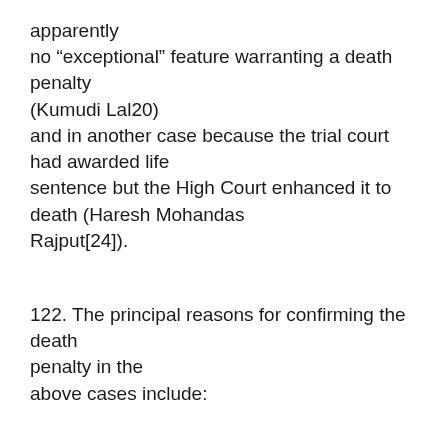apparently no “exceptional” feature warranting a death penalty (Kumudi Lal20) and in another case because the trial court had awarded life sentence but the High Court enhanced it to death (Haresh Mohandas Rajput[24]).
122. The principal reasons for confirming the death penalty in the above cases include:
(1) the cruel, diabolic, brutal, depraved and gruesome